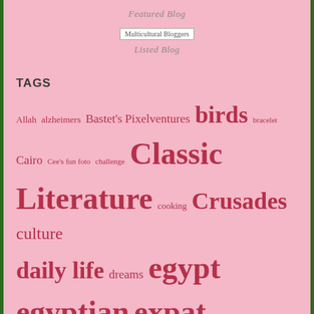Featured Blog
[Figure (other): Multicultural Bloggers badge image]
Listed Blog
TAGS
Allah alzheimers Bastet's Pixelventures birds bracelet Cairo Cee's fun foto challenge Classic Literature cooking Crusades culture daily life dreams egypt egyptian expat family farming food gardening handmade History internet islam Islamic History Jerusalem jewelry juice language longreads love market marriage mediterranean memoir memories mesopotamia mosque multicultural muslim Nur el Din online dating poem poetry